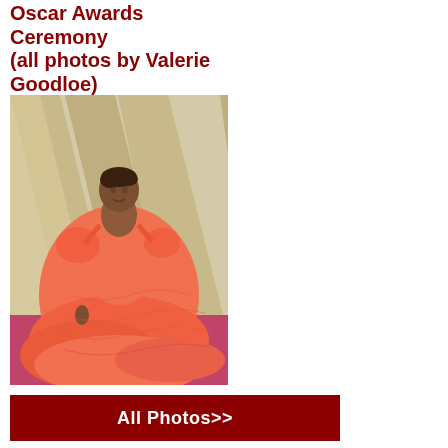Oscar Awards Ceremony (all photos by Valerie Goodloe)
[Figure (photo): A woman in a bright orange-coral off-shoulder ruffled ballgown posing on the red carpet at the Oscar Awards Ceremony, with gold Oscar statuette background panels visible behind her.]
All Photos>>